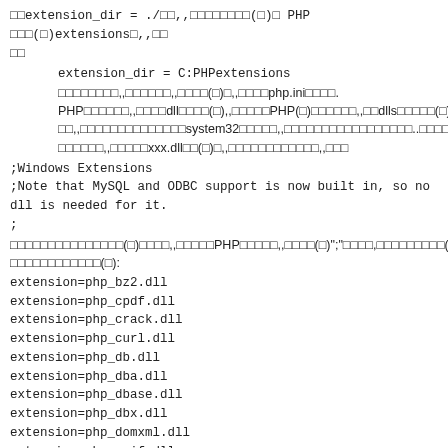□□extension_dir = ./□□,,□□□□□□□□(□)□ PHP □□□(□)extensions□,,□□□□
extension_dir = C:PHPextensions
□□□□□□□□,,□□□□□□,,□□□□(□)□,,□□□□php.ini□□□□.
PHP□□□□□□,,□□□□dll□□□□(□),,□□□□□PHP(□)□□□□□□,,□□dlls□□□□□(□)□□□□,,□□□□□□□□□□□□□□system32□□□□□,,□□□□□□□□□□□□□□□□□..□□□□□□□(□)□□,,□□□□,,□□□□□□□,,□□□□□xxx.dll□□(□)□,,□□□□□□□□□□□□,,□□□
;Windows Extensions
;Note that MySQL and ODBC support is now built in, so no dll is needed for it.
;
□□□□□□□□□□□□□□□(□)□□□□,,□□□□□PHP□□□□□,,□□□□(□)";"□□□□,□□□□□□□□□(□)□□,□□□□□□□□□□□□□□□□(□):
extension=php_bz2.dll
extension=php_cpdf.dll
extension=php_crack.dll
extension=php_curl.dll
extension=php_db.dll
extension=php_dba.dll
extension=php_dbase.dll
extension=php_dbx.dll
extension=php_domxml.dll
extension=php_exif.dll